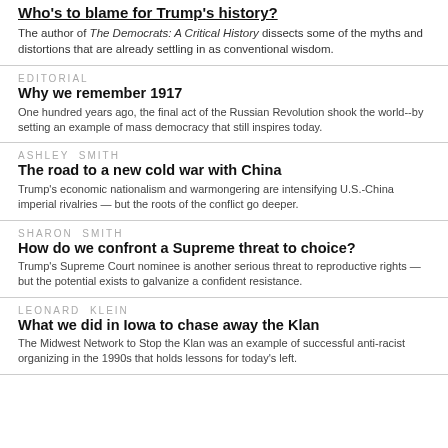Who's to blame for Trump's history?
The author of The Democrats: A Critical History dissects some of the myths and distortions that are already settling in as conventional wisdom.
EDITORIAL
Why we remember 1917
One hundred years ago, the final act of the Russian Revolution shook the world--by setting an example of mass democracy that still inspires today.
ASHLEY SMITH
The road to a new cold war with China
Trump's economic nationalism and warmongering are intensifying U.S.-China imperial rivalries — but the roots of the conflict go deeper.
SHARON SMITH
How do we confront a Supreme threat to choice?
Trump's Supreme Court nominee is another serious threat to reproductive rights — but the potential exists to galvanize a confident resistance.
LEONARD KLEIN
What we did in Iowa to chase away the Klan
The Midwest Network to Stop the Klan was an example of successful anti-racist organizing in the 1990s that holds lessons for today's left.